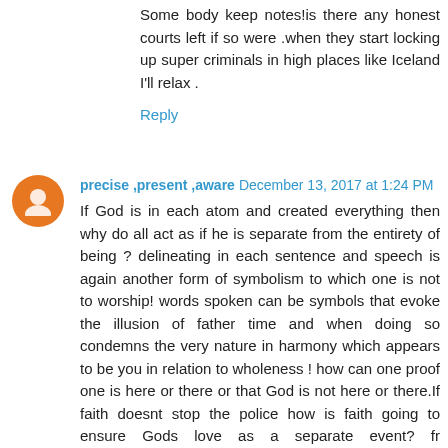Some body keep notes!is there any honest courts left if so were .when they start locking up super criminals in high places like Iceland I'll relax .
Reply
precise ,present ,aware  December 13, 2017 at 1:24 PM
If God is in each atom and created everything then why do all act as if he is separate from the entirety of being ? delineating in each sentence and speech is again another form of symbolism to which one is not to worship! words spoken can be symbols that evoke the illusion of father time and when doing so condemns the very nature in harmony which appears to be you in relation to wholeness ! how can one proof one is here or there or that God is not here or there.If faith doesnt stop the police how is faith going to ensure Gods love as a separate event? fr actualization and quantum physics make spaghetti out of anything stated about God being separate or each one of us being separate,Contrast is not a separate element if you discern precisely.Just look at one letter and see the contrast point from the ink to the white of the medium the